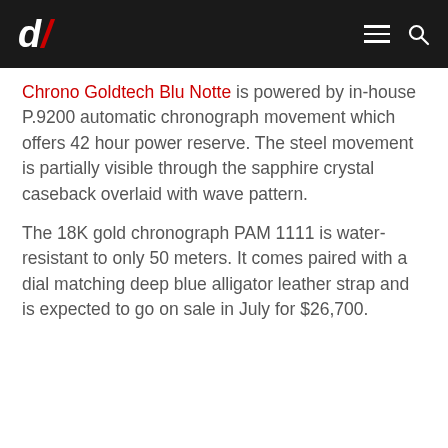d/ [logo] [hamburger menu] [search icon]
Chrono Goldtech Blu Notte is powered by in-house P.9200 automatic chronograph movement which offers 42 hour power reserve. The steel movement is partially visible through the sapphire crystal caseback overlaid with wave pattern.
The 18K gold chronograph PAM 1111 is water-resistant to only 50 meters. It comes paired with a dial matching deep blue alligator leather strap and is expected to go on sale in July for $26,700.